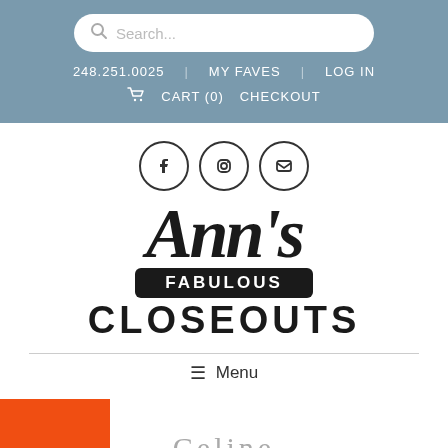Search... | 248.251.0025 | MY FAVES | LOG IN | CART (0) | CHECKOUT
[Figure (logo): Ann's Fabulous Closeouts logo with script Ann's text and bold FABULOUS CLOSEOUTS text]
≡ Menu
Celine